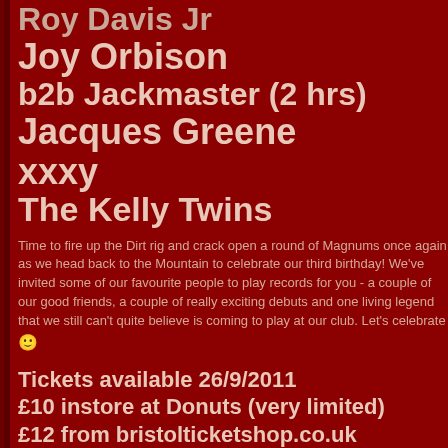Roy Davis Jr
Joy Orbison
b2b Jackmaster (2 hrs)
Jacques Greene
xxxy
The Kelly Twins
Time to fire up the Dirt rig and crack open a round of Magnums once again as we head back to the Mountain to celebrate our third birthday! We've invited some of our favourite people to play records for you - a couple of our good friends, a couple of really exciting debuts and one living legend that we still can't quite believe is coming to play at our club. Let's celebrate 🙂
Tickets available 26/9/2011
£10 instore at Donuts (very limited)
£12 from bristolticketshop.co.uk